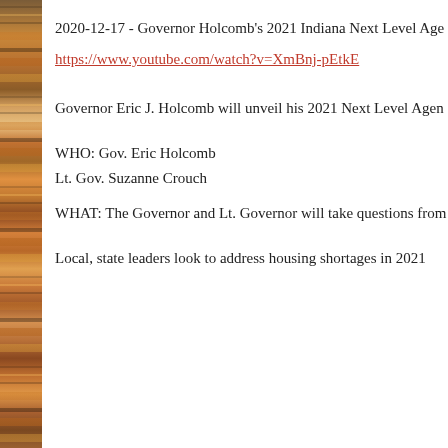2020-12-17 - Governor Holcomb's 2021 Indiana Next Level Age
https://www.youtube.com/watch?v=XmBnj-pEtkE
Governor Eric J. Holcomb will unveil his 2021 Next Level Agen
WHO: Gov. Eric Holcomb
Lt. Gov. Suzanne Crouch
WHAT: The Governor and Lt. Governor will take questions from
Local, state leaders look to address housing shortages in 2021